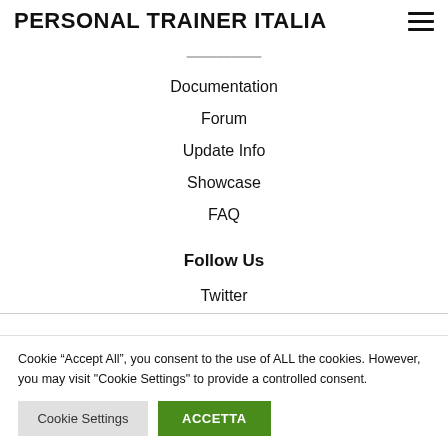PERSONAL TRAINER ITALIA
Documentation
Forum
Update Info
Showcase
FAQ
Follow Us
Twitter
Cookie “Accept All”, you consent to the use of ALL the cookies. However, you may visit "Cookie Settings" to provide a controlled consent.